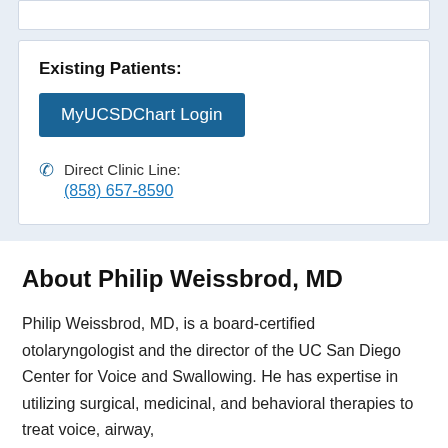Existing Patients:
MyUCSDChart Login
Direct Clinic Line: (858) 657-8590
About Philip Weissbrod, MD
Philip Weissbrod, MD, is a board-certified otolaryngologist and the director of the UC San Diego Center for Voice and Swallowing. He has expertise in utilizing surgical, medicinal, and behavioral therapies to treat voice, airway,